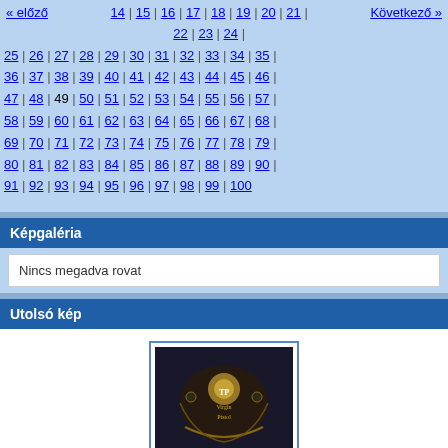« előző | 14 | 15 | 16 | 17 | 18 | 19 | 20 | 21 | 22 | 23 | 24 | Következő »
25 | 26 | 27 | 28 | 29 | 30 | 31 | 32 | 33 | 34 | 35 |
36 | 37 | 38 | 39 | 40 | 41 | 42 | 43 | 44 | 45 | 46 |
47 | 48 | 49 | 50 | 51 | 52 | 53 | 54 | 55 | 56 | 57 |
58 | 59 | 60 | 61 | 62 | 63 | 64 | 65 | 66 | 67 | 68 |
69 | 70 | 71 | 72 | 73 | 74 | 75 | 76 | 77 | 78 | 79 |
80 | 81 | 82 | 83 | 84 | 85 | 86 | 87 | 88 | 89 | 90 |
91 | 92 | 93 | 94 | 95 | 96 | 97 | 98 | 99 | 100
Képgaléria
Nincs megadva rovat
Utolsó kép
[Figure (photo): Small thumbnail image with ornate dark graphic, possibly a band logo or album art]
Fotoalbum